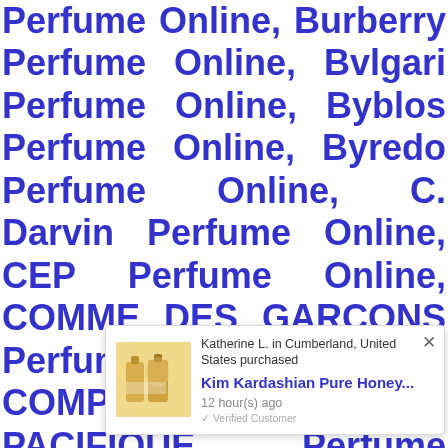Perfume Online, Burberry Perfume Online, Bvlgari Perfume Online, Byblos Perfume Online, Byredo Perfume Online, C. Darvin Perfume Online, CEP Perfume Online, COMME DES GARCONS Perfume Online, COMPTOIR SUD PACIFIQUE Perfume Online, Cabochard Perfume Online, Cacharel Perfume Online, Caesars Perfume Online, Calgon Perfume Online, California Perfume Online, Calvin Klein Perfume Online, Calypso Christiane Celle Perfume Online, Cabi... Perfume Online, Gucci Perfume Online, Carla Fracci Perfume Online, Carlo Corinto Perfume Online, Carlo Corto Perfume...
[Figure (other): Popup notification showing a product purchase: Katherine L. in Cumberland, United States purchased Kim Kardashian Pure Honey... 12 hour(s) ago. Verified Customer label. Shows product image of Kim Kardashian Pure Honey perfume bottles with portrait. Has a close (x) button and a dark circular element at the bottom right.]